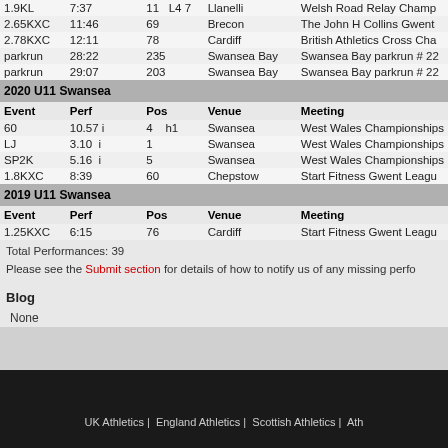| Event | Perf | Pos |  | Venue | Meeting |
| --- | --- | --- | --- | --- | --- |
| 1.9KL | 7:37 | 11 | L4 7 | Llanelli | Welsh Road Relay Champ... |
| 2.65KXC | 11:46 | 69 |  | Brecon | The John H Collins Gwent... |
| 2.78KXC | 12:11 | 78 |  | Cardiff | British Athletics Cross Cha... |
| parkrun | 28:22 | 235 |  | Swansea Bay | Swansea Bay parkrun # 22... |
| parkrun | 29:07 | 203 |  | Swansea Bay | Swansea Bay parkrun # 22... |
2020 U11 Swansea
| Event | Perf | Pos |  | Venue | Meeting |
| --- | --- | --- | --- | --- | --- |
| 60 | 10.57 i | 4 | h1 | Swansea | West Wales Championships... |
| LJ | 3.10  i | 1 |  | Swansea | West Wales Championships... |
| SP2K | 5.16  i | 5 |  | Swansea | West Wales Championships... |
| 1.8KXC | 8:39 | 60 |  | Chepstow | Start Fitness Gwent Leagu... |
2019 U11 Swansea
| Event | Perf | Pos |  | Venue | Meeting |
| --- | --- | --- | --- | --- | --- |
| 1.25KXC | 6:15 | 76 |  | Cardiff | Start Fitness Gwent Leagu... |
Total Performances: 39
Please see the Submit section for details of how to notify us of any missing perfo...
Blog
None
UK Athletics | England Athletics | Scottish Athletics | Ath...